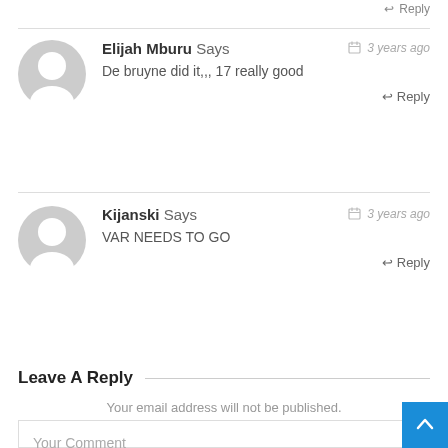↩ Reply
Elijah Mburu Says  📅 3 years ago
De bruyne did it,,, 17 really good
↩ Reply
Kijanski Says  📅 3 years ago
VAR NEEDS TO GO
↩ Reply
Leave A Reply
Your email address will not be published.
Your Comment